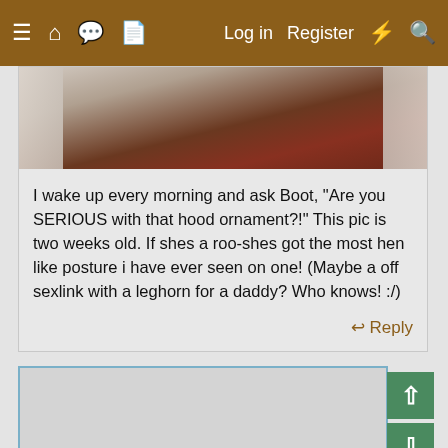≡ 🏠 💬 📄   Log in   Register  ⚡ 🔍
[Figure (photo): Partial photo of a chicken or bird, cropped, showing blurred brown/reddish tones at top of post card]
I wake up every morning and ask Boot, "Are you SERIOUS with that hood ornament?!" This pic is two weeks old. If shes a roo-shes got the most hen like posture i have ever seen on one! (Maybe a off sexlink with a leghorn for a daddy? Who knows! :/)
↩ Reply
[Figure (screenshot): Forum text editor/reply box area, light gray background with blue border]
↑
↓
✕